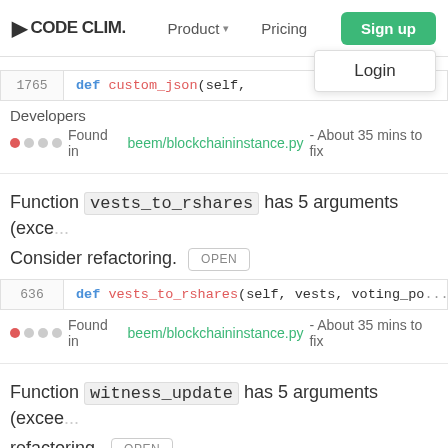CODE CLIM. | Product | Pricing | Sign up | Login
1765   def custom_json(self,
Developers
Found in beem/blockchaininstance.py - About 35 mins to fix
Function vests_to_rshares has 5 arguments (exce... Consider refactoring. OPEN
636   def vests_to_rshares(self, vests, voting_po...
Found in beem/blockchaininstance.py - About 35 mins to fix
Function witness_update has 5 arguments (excee... refactoring. OPEN
1679   def witness_update(self, signing_key, url,...
Found in beem/blockchaininstance.py - About 35 mins to fix